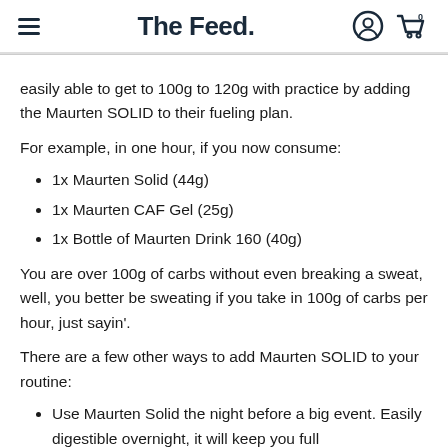The Feed.
easily able to get to 100g to 120g with practice by adding the Maurten SOLID to their fueling plan.
For example, in one hour, if you now consume:
1x Maurten Solid (44g)
1x Maurten CAF Gel (25g)
1x Bottle of Maurten Drink 160 (40g)
You are over 100g of carbs without even breaking a sweat, well, you better be sweating if you take in 100g of carbs per hour, just sayin'.
There are a few other ways to add Maurten SOLID to your routine:
Use Maurten Solid the night before a big event. Easily digestible overnight, it will keep you full